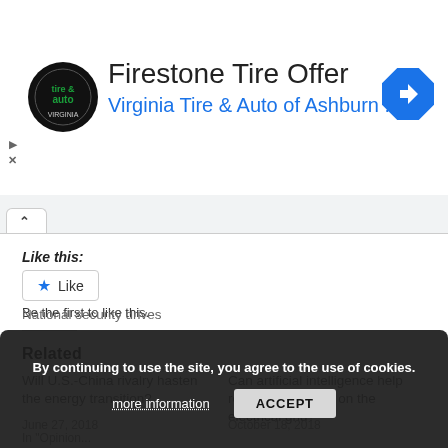[Figure (screenshot): Ad banner for Firestone Tire Offer from Virginia Tire & Auto of Ashburn with circular logo and blue diamond navigation arrow icon]
Firestone Tire Offer
Virginia Tire & Auto of Ashburn ...
Like this:
Like
Be the first to like this.
Related
Will U.S.-China rivalry hasten the energy transition?
Can artificial intelligence help renewables surge on the electrical grid?
June 27, 2018
In "Opinion...
October 18, 2018
National security drives
By continuing to use the site, you agree to the use of cookies.
more information
ACCEPT